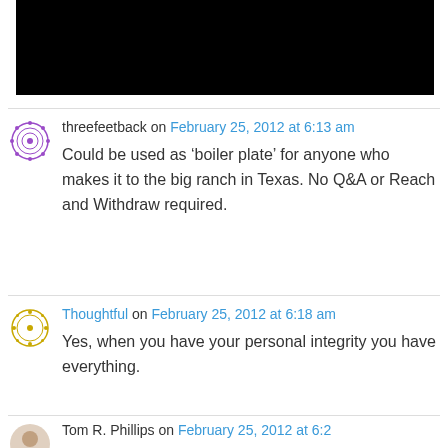[Figure (other): Black rectangular image/video thumbnail at top of page]
threefeetback on February 25, 2012 at 6:13 am
Could be used as ‘boiler plate’ for anyone who makes it to the big ranch in Texas. No Q&A or Reach and Withdraw required.
Thoughtful on February 25, 2012 at 6:18 am
Yes, when you have your personal integrity you have everything.
Tom R. Phillips on February 25, 2012 at 6:2...